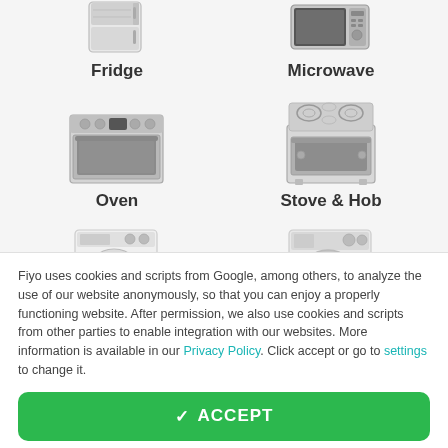[Figure (illustration): Fridge appliance icon — white/grey refrigerator]
Fridge
[Figure (illustration): Microwave appliance icon — grey countertop microwave]
Microwave
[Figure (illustration): Oven appliance icon — stainless steel built-in oven]
Oven
[Figure (illustration): Stove and hob appliance icon — range cooker with burners]
Stove & Hob
[Figure (illustration): Tumble dryer appliance icon — white front-loading dryer]
[Figure (illustration): Washing machine appliance icon — white front-loading washing machine]
Fiyo uses cookies and scripts from Google, among others, to analyze the use of our website anonymously, so that you can enjoy a properly functioning website. After permission, we also use cookies and scripts from other parties to enable integration with our websites. More information is available in our Privacy Policy. Click accept or go to settings to change it.
✓ ACCEPT